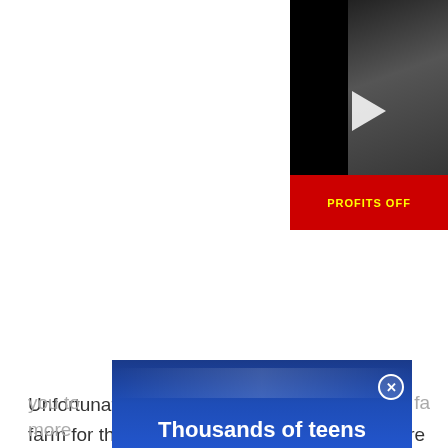[Figure (screenshot): Embedded video player with black background, showing a person's face on the right side, a play button triangle in the center, and a red banner at the bottom reading 'PROFITS OFF'. A close (X) button is in the upper right corner of the player.]
Unfortunately, there aren't any better areas to farm for this rare material just yet. We'll be sure to keep our eyes open, though, and we'll update this guide with any better areas that we find. For now, make sure to fast travel out of the zone to make the nodes respawn quicker, or just hunt around for other things and complete some of your investigations while out on the expedition. This will allow you to [ad overlaps] g you fa[st] more [ad overlaps] d for
[Figure (screenshot): Blue advertisement overlay banner at the bottom of the page with white bold text reading 'Thousands of teens'. Has a close (X) button on the right side.]